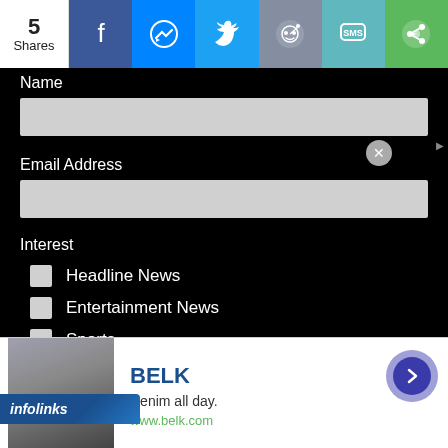[Figure (screenshot): Social share bar with 5 Shares count, Facebook, Messenger, Twitter, Reddit, SMS, and green share buttons]
Name
[Figure (screenshot): Name input text field (gray, empty)]
Email Address
[Figure (screenshot): Email Address input text field (gray, empty)]
Interest
Headline News
Entertainment News
Sports
Viral Videos
[Figure (screenshot): SIGN UP! button]
[Figure (screenshot): Infolinks ad bar with BELK advertisement: Denim all day. www.belk.com with navigation arrow]